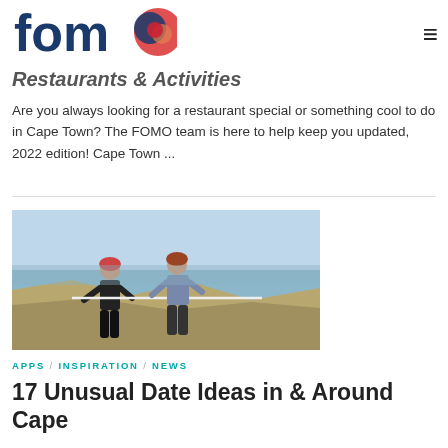fomo
Restaurants & Activities
Are you always looking for a restaurant special or something cool to do in Cape Town? The FOMO team is here to help keep you updated, 2022 edition! Cape Town ...
[Figure (photo): Two people wearing helmets and harnesses standing on a mountainside with a city view in the background, apparently doing an abseil or zip-line activity.]
APPS / INSPIRATION / NEWS
17 Unusual Date Ideas in & Around Cape